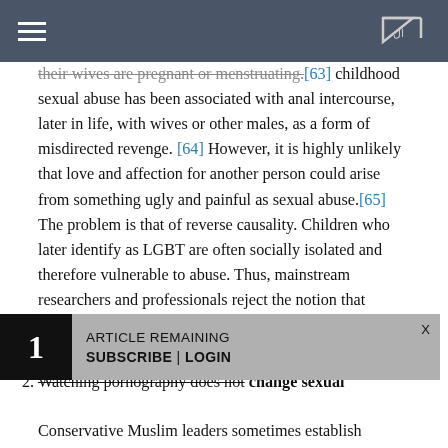[hamburger menu] [Arabic logo]
their wives are pregnant or menstruating.[63] childhood sexual abuse has been associated with anal intercourse, later in life, with wives or other males, as a form of misdirected revenge. [64] However, it is highly unlikely that love and affection for another person could arise from something ugly and painful as sexual abuse.[65] The problem is that of reverse causality. Children who later identify as LGBT are often socially isolated and therefore vulnerable to abuse. Thus, mainstream researchers and professionals reject the notion that sexual abuse turns an individual gay.[66]
2. Watching pornography does not change sexual
Conservative Muslim leaders sometimes establish